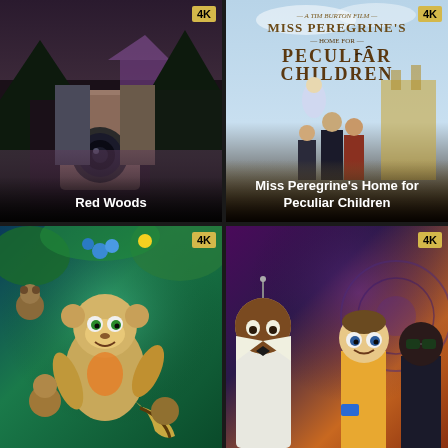[Figure (photo): Movie poster thumbnail for Red Woods showing a person holding a camera with a dark forest and house in background. 4K badge in top right corner. Title 'Red Woods' in white bold text at bottom.]
[Figure (photo): Movie poster thumbnail for Miss Peregrine's Home for Peculiar Children showing the film title text at top and characters below. 4K badge in top right corner. Title 'Miss Peregrine's Home for Peculiar Children' in white bold text at bottom.]
[Figure (photo): Movie poster thumbnail for an animated film showing cartoon animal characters in a colorful jungle setting. 4K badge in top right corner. No title visible at bottom.]
[Figure (photo): Movie poster thumbnail for an animated spy/action film showing animated characters against a purple/orange background. 4K badge in top right corner. No title visible at bottom.]